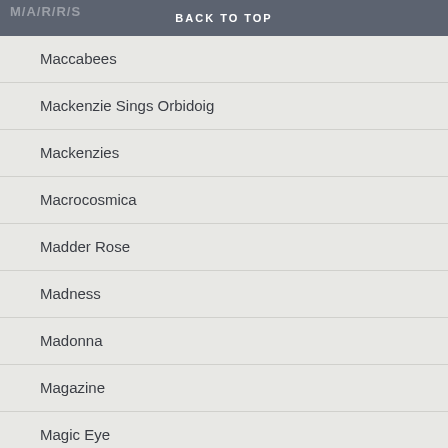M/A/R/R/S
BACK TO TOP
Maccabees
Mackenzie Sings Orbidoig
Mackenzies
Macrocosmica
Madder Rose
Madness
Madonna
Magazine
Magic Eye
Magic Numbers
Magnetic Fields
Malcolm McLaren
Malcolm Middlet…